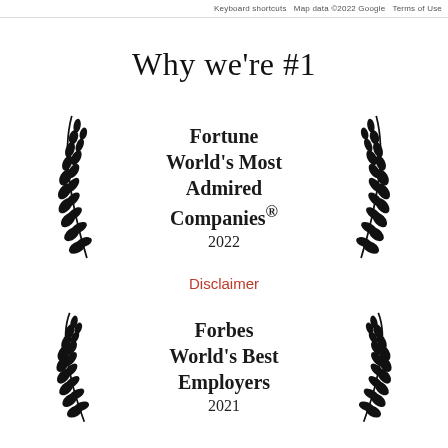Keyboard shortcuts  Map data ©2022 Google  Terms of Use
Why we're #1
[Figure (illustration): Award badge with laurel wreath and text: Fortune World's Most Admired Companies® 2022]
Disclaimer
[Figure (illustration): Award badge with laurel wreath and text: Forbes World's Best Employers 2021]